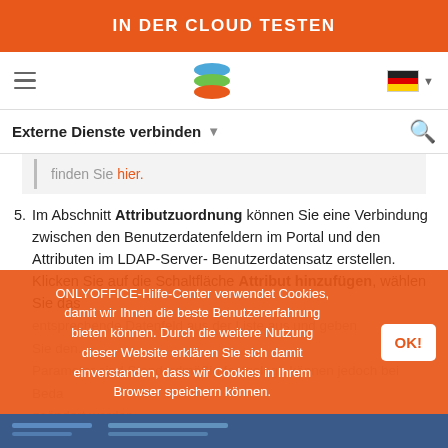IN DER CLOUD TESTEN
[Figure (screenshot): Navigation bar with hamburger menu, layered logo icon, and German flag with dropdown]
Externe Dienste verbinden
finden Sie hier.
5. Im Abschnitt Attributzuordnung können Sie eine Verbindung zwischen den Benutzerdatenfeldern im Portal und den Attributen im LDAP-Server-Benutzerdatensatz erstellen. Klicken Sie auf die Schaltfläche Attribut hinzufügen, wählen Sie das entsprechende Datenfeld aus der Liste aus und geben Sie den... Parameter sind Standardmäßig festgelegt, können jedoch bei Bedarf geändert werden.
ONLYOFFICE-Hilfe-Center verwendet Cookies, damit wir Ihnen die beste Benutzererfahrung bieten können. Durch die weitere Nutzung dieser Website erklären Sie sich damit einverstanden, dass wir Cookies in Ihrem Browser speichern können.
[Figure (screenshot): Bottom screenshot strip showing ONLYOFFICE interface]